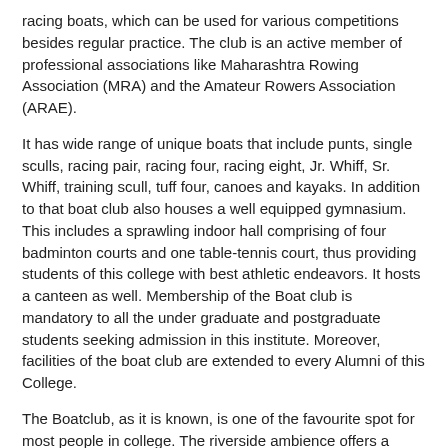racing boats, which can be used for various competitions besides regular practice. The club is an active member of professional associations like Maharashtra Rowing Association (MRA) and the Amateur Rowers Association (ARAE).
It has wide range of unique boats that include punts, single sculls, racing pair, racing four, racing eight, Jr. Whiff, Sr. Whiff, training scull, tuff four, canoes and kayaks. In addition to that boat club also houses a well equipped gymnasium. This includes a sprawling indoor hall comprising of four badminton courts and one table-tennis court, thus providing students of this college with best athletic endeavors. It hosts a canteen as well. Membership of the Boat club is mandatory to all the under graduate and postgraduate students seeking admission in this institute. Moreover, facilities of the boat club are extended to every Alumni of this College.
The Boatclub, as it is known, is one of the favourite spot for most people in college. The riverside ambience offers a majestic view of the Mula River. The Boatclub has become synonymous with COEP for every COEPian.
For more information visit http://www.coep.org.in/boatclub/